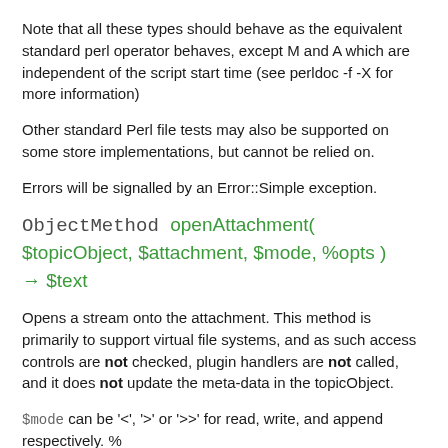Note that all these types should behave as the equivalent standard perl operator behaves, except M and A which are independent of the script start time (see perldoc -f -X for more information)
Other standard Perl file tests may also be supported on some store implementations, but cannot be relied on.
Errors will be signalled by an Error::Simple exception.
ObjectMethod openAttachment( $topicObject, $attachment, $mode, %opts ) → $text
Opens a stream onto the attachment. This method is primarily to support virtual file systems, and as such access controls are not checked, plugin handlers are not called, and it does not update the meta-data in the topicObject.
$mode can be '<', '>' or '>>' for read, write, and append respectively. %